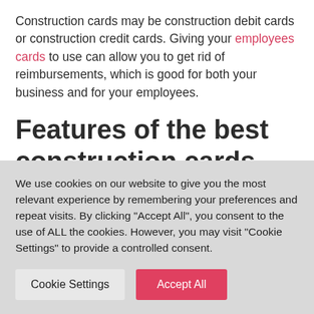Construction cards may be construction debit cards or construction credit cards. Giving your employees cards to use can allow you to get rid of reimbursements, which is good for both your business and for your employees.
Features of the best construction cards
When you are searching for a credit card for a construction business, there are several optimal...
We use cookies on our website to give you the most relevant experience by remembering your preferences and repeat visits. By clicking "Accept All", you consent to the use of ALL the cookies. However, you may visit "Cookie Settings" to provide a controlled consent.